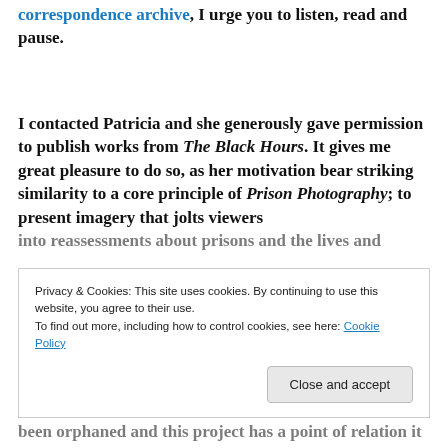correspondence archive, I urge you to listen, read and pause.
I contacted Patricia and she generously gave permission to publish works from The Black Hours. It gives me great pleasure to do so, as her motivation bear striking similarity to a core principle of Prison Photography; to present imagery that jolts viewers into reassessments about prisons and the lives and...
Privacy & Cookies: This site uses cookies. By continuing to use this website, you agree to their use. To find out more, including how to control cookies, see here: Cookie Policy
Close and accept
been orphaned and this project has a point of relation it...